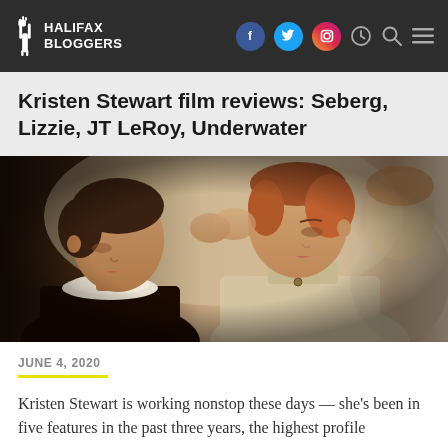HALIFAX BLOGGERS
Kristen Stewart film reviews: Seberg, Lizzie, JT LeRoy, Underwater
[Figure (photo): Two women in period costume leaning their foreheads together intimately, a third figure visible in the background. Still from the film Lizzie.]
JUNE 4, 2020
Kristen Stewart is working nonstop these days — she's been in five features in the past three years, the highest profile